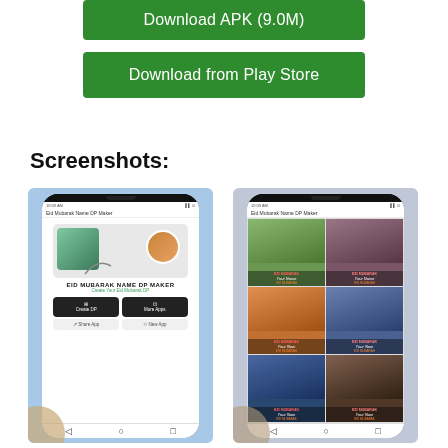[Figure (screenshot): Green button: Download APK (9.0M)]
[Figure (screenshot): Green button: Download from Play Store]
Screenshots:
[Figure (screenshot): Mobile app screenshot showing Eid Mubarak Name DP Maker app home screen with Create DP and More Apps buttons]
[Figure (screenshot): Mobile app screenshot showing Eid Mubarak Name DP Maker grid of template options with Eid Mubarak overlays]